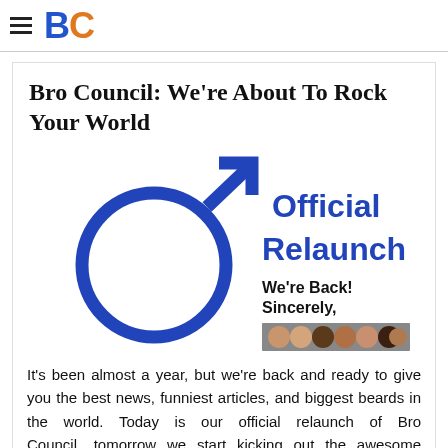BC — Bro Council logo with hamburger menu
Bro Council: We're About To Rock Your World
[Figure (illustration): Official Relaunch graphic: blue male gender symbol on the left, bold blue text 'Official Relaunch' on the right, below that bold black text 'We're Back! Sincerely,' followed by a photo strip of team members]
It's been almost a year, but we're back and ready to give you the best news, funniest articles, and biggest beards in the world. Today is our official relaunch of Bro Council....tomorrow we start kicking out the awesome articles you remember from us. We